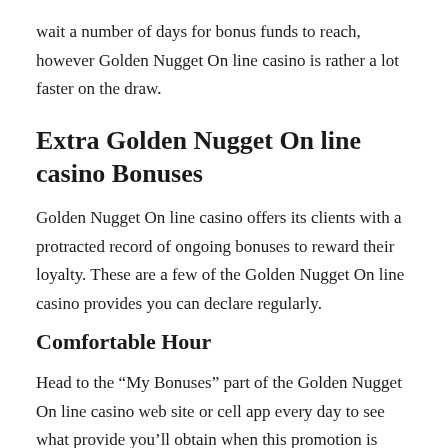wait a number of days for bonus funds to reach, however Golden Nugget On line casino is rather a lot faster on the draw.
Extra Golden Nugget On line casino Bonuses
Golden Nugget On line casino offers its clients with a protracted record of ongoing bonuses to reward their loyalty. These are a few of the Golden Nugget On line casino provides you can declare regularly.
Comfortable Hour
Head to the “My Bonuses” part of the Golden Nugget On line casino web site or cell app every day to see what provide you'll obtain when this promotion is operating. In case you fulfill the necessities, you may decide in and your provide will probably be awarded immediately.